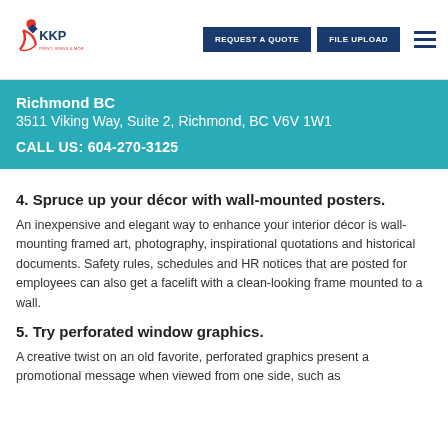KKP | REQUEST A QUOTE | FILE UPLOAD
Richmond BC
3511 Viking Way, Suite 2, Richmond, BC V6V 1W1
CALL US: 604-270-3125
4. Spruce up your décor with wall-mounted posters.
An inexpensive and elegant way to enhance your interior décor is wall-mounting framed art, photography, inspirational quotations and historical documents. Safety rules, schedules and HR notices that are posted for employees can also get a facelift with a clean-looking frame mounted to a wall.
5. Try perforated window graphics.
A creative twist on an old favorite, perforated graphics present a promotional message when viewed from one side, such as